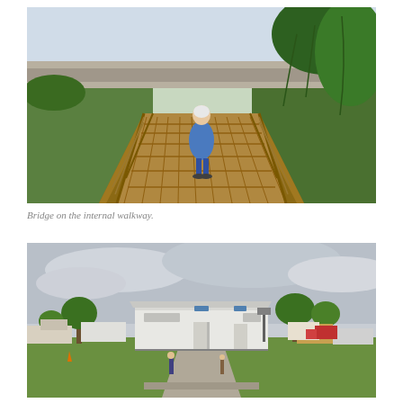[Figure (photo): A woman standing on a wooden bridge walkway with green grass and vegetation on both sides. Rock-lined area and sky visible in background.]
Bridge on the internal walkway.
[Figure (photo): A wide outdoor view of a recreational vehicle park or campground with a large white metal building in the center, trees, parked RVs, and overcast sky.]